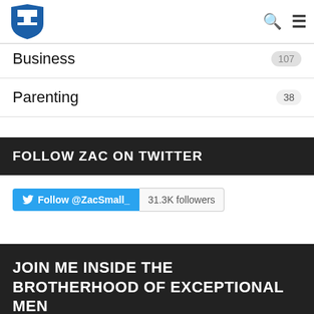Navigation bar with shield logo, search icon, and menu icon
Business  107
Parenting  38
FOLLOW ZAC ON TWITTER
Follow @ZacSmall_  31.3K followers
JOIN ME INSIDE THE BROTHERHOOD OF EXCEPTIONAL MEN